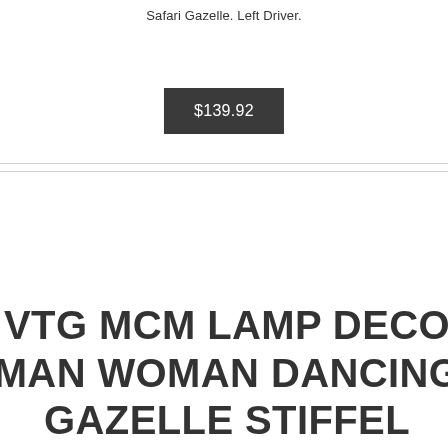Safari Gazelle. Left Driver.
$139.92
VTG MCM LAMP DECO MAN WOMAN DANCING GAZELLE STIFFEL